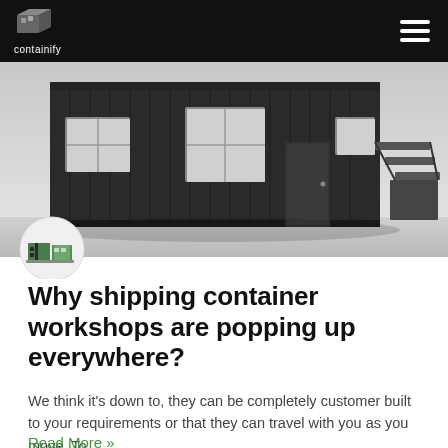containify
[Figure (photo): 3D render of a dark grey shipping container workshop building with windows, a door, and exterior stairs, shown against a light grey background]
[Figure (illustration): Small icon of a green and grey shipping container building]
Why shipping container workshops are popping up everywhere?
We think it’s down to, they can be completely customer built to your requirements or that they can travel with you as you move. To
Read More »